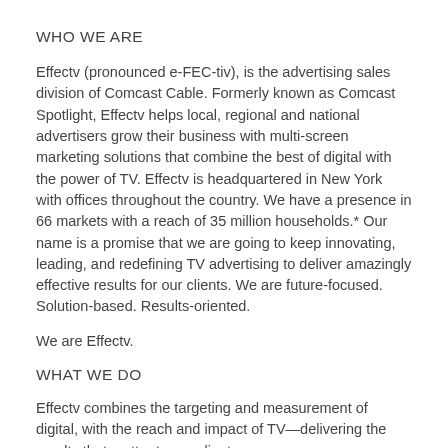WHO WE ARE
Effectv (pronounced e-FEC-tiv), is the advertising sales division of Comcast Cable. Formerly known as Comcast Spotlight, Effectv helps local, regional and national advertisers grow their business with multi-screen marketing solutions that combine the best of digital with the power of TV. Effectv is headquartered in New York with offices throughout the country. We have a presence in 66 markets with a reach of 35 million households.* Our name is a promise that we are going to keep innovating, leading, and redefining TV advertising to deliver amazingly effective results for our clients. We are future-focused. Solution-based. Results-oriented.
We are Effectv.
WHAT WE DO
Effectv combines the targeting and measurement of digital, with the reach and impact of TV—delivering the results that matter to our clients.
We apply data to television advertising in new ways to help each business reach its target customers. Then, we